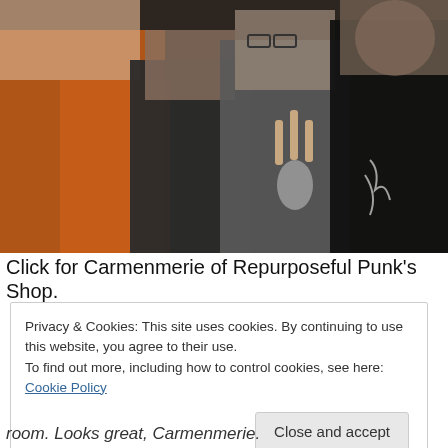[Figure (photo): Group photo of four young people in a dark room. One person wears a bright orange t-shirt on the left, others wear dark clothing. A person in the center holds a beverage can and makes a hand gesture. A woman on the right smiles at camera.]
Click for Carmenmerie of Repurposeful Punk's Shop.
Privacy & Cookies: This site uses cookies. By continuing to use this website, you agree to their use.
To find out more, including how to control cookies, see here: Cookie Policy
Close and accept
room. Looks great, Carmenmerie.